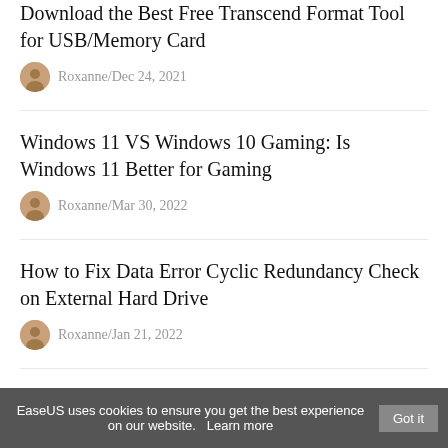Download the Best Free Transcend Format Tool for USB/Memory Card
Roxanne/Dec 24, 2021
Windows 11 VS Windows 10 Gaming: Is Windows 11 Better for Gaming
Roxanne/Mar 30, 2022
How to Fix Data Error Cyclic Redundancy Check on External Hard Drive
Roxanne/Jan 21, 2022
How to Fix BOOTMGR Is Missing Windows 10/8/7
EaseUS uses cookies to ensure you get the best experience on our website.   Learn more   Got it